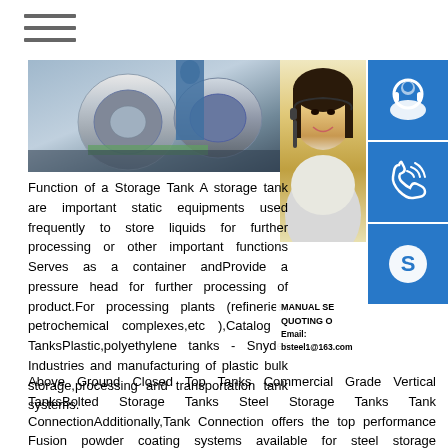[Figure (photo): Industrial steel rolls/coils being processed in a factory setting]
[Figure (photo): Asian woman customer service representative with headset, smiling]
[Figure (logo): Blue square icon with white headset/customer support symbol]
[Figure (logo): Blue square icon with white phone/call symbol]
[Figure (logo): Blue square icon with white Skype symbol]
MANUAL SE... QUOTING O... Email: bsteel1@163.com
Function of a Storage Tank A storage tank are important static equipments used frequently to store liquids for further processing or other important functions Serves as a container andProvide a pressure head for further processing of product.For processing plants (refineries, petrochemical complexes,etc ),Catalog - TanksPlastic,polyethylene tanks - Snyder Industries and manufacturing of plastic bulk storage,processing and transportation tank systems.Above Ground Closed Top Tanks Commercial Grade Vertical TanksBolted Storage Tanks Steel Storage Tanks Tank ConnectionAdditionally,Tank Connection offers the top performance Fusion powder coating systems available for steel storage tanks.Offering the best line-up of quality storage products has made Tank Connection the #1